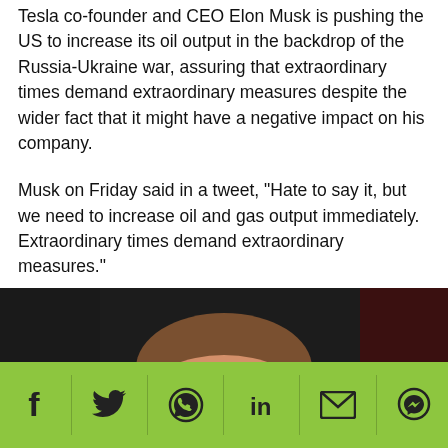Tesla co-founder and CEO Elon Musk is pushing the US to increase its oil output in the backdrop of the Russia-Ukraine war, assuring that extraordinary times demand extraordinary measures despite the wider fact that it might have a negative impact on his company.
Musk on Friday said in a tweet, "Hate to say it, but we need to increase oil and gas output immediately. Extraordinary times demand extraordinary measures."
[Figure (photo): Photo of Elon Musk speaking, dark background with red tones, man in dark t-shirt, partially cropped at bottom]
[Figure (infographic): Social media share bar with green background (#8dc63f) containing icons for Facebook, Twitter, WhatsApp, LinkedIn, Email, and Facebook Messenger]